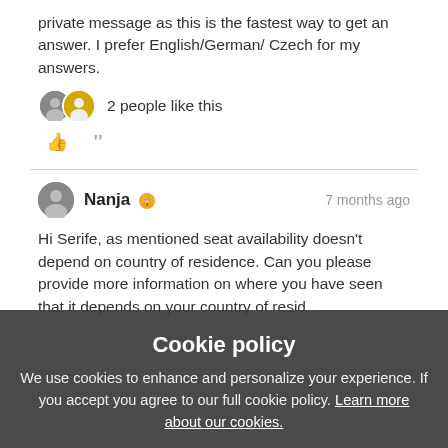private message as this is the fastest way to get an answer. I prefer English/German/ Czech for my answers.
2 people like this
Nanja  7 months ago
Hi Serife, as mentioned seat availability doesn't depend on country of residence. Can you please provide more information on where you have seen that it depends on your country of residence. a s...
Cookie policy
We use cookies to enhance and personalize your experience. If you accept you agree to our full cookie policy. Learn more about our cookies.
ACCEPT COOKIES
DENY ALL
Cookie settings